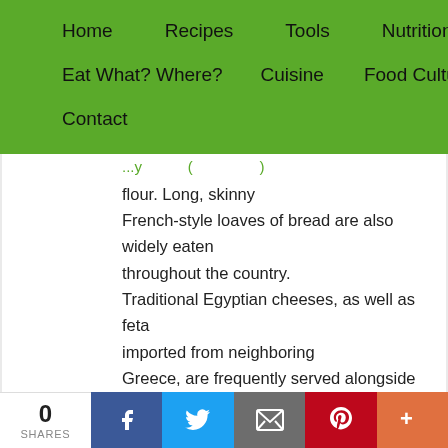Home  Recipes  Tools  Nutrition  Eat What? Where?  Cuisine  Food Culture  Contact
flour. Long, skinny French-style loaves of bread are also widely eaten throughout the country. Traditional Egyptian cheeses, as well as feta imported from neighboring Greece, are frequently served alongside bread at meals.
0 SHARES  [Facebook] [Twitter] [Email] [Pinterest] [More]